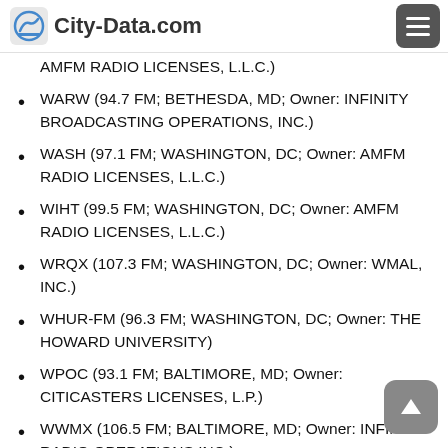City-Data.com
AMFM RADIO LICENSES, L.L.C.)
WARW (94.7 FM; BETHESDA, MD; Owner: INFINITY BROADCASTING OPERATIONS, INC.)
WASH (97.1 FM; WASHINGTON, DC; Owner: AMFM RADIO LICENSES, L.L.C.)
WIHT (99.5 FM; WASHINGTON, DC; Owner: AMFM RADIO LICENSES, L.L.C.)
WRQX (107.3 FM; WASHINGTON, DC; Owner: WMAL, INC.)
WHUR-FM (96.3 FM; WASHINGTON, DC; Owner: THE HOWARD UNIVERSITY)
WPOC (93.1 FM; BALTIMORE, MD; Owner: CITICASTERS LICENSES, L.P.)
WWMX (106.5 FM; BALTIMORE, MD; Owner: INFINITY RADIO OPERATIONS INC.)
WFRE (99.9 FM; FREDERICK, MD; Owner: CAPSTAR TX LIMITED PARTNERSHIP)
WKYS (93.9 FM; WASHINGTON, DC; Owner: